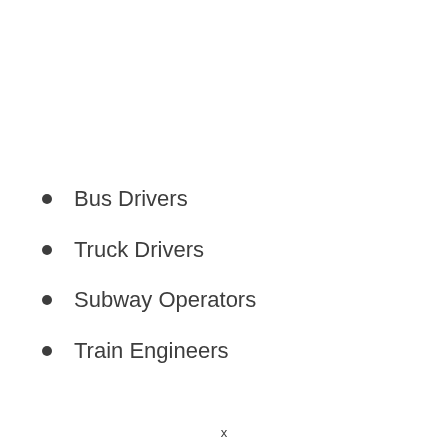Bus Drivers
Truck Drivers
Subway Operators
Train Engineers
x